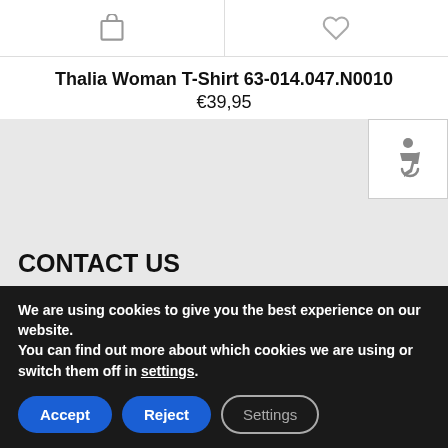[Figure (other): Shopping bag icon and heart/wishlist icon in a two-cell icon row with borders]
Thalia Woman T-Shirt 63-014.047.N0010
€39,95
[Figure (other): Gray section area (map placeholder) with accessibility wheelchair icon in top-right corner]
CONTACT US
Athanassiou Kokkoni 7, Gargalianoi, Messinia, Greece
We are using cookies to give you the best experience on our website.
You can find out more about which cookies we are using or switch them off in settings.